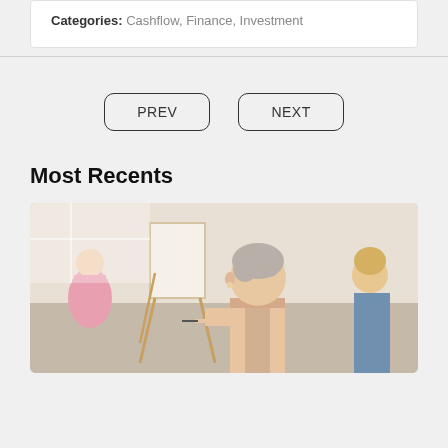Categories: Cashflow, Finance, Investment
PREV
NEXT
Most Recents
[Figure (photo): A middle-aged woman with short gray hair painting on a canvas on an easel in an art class, with other women visible in the background.]